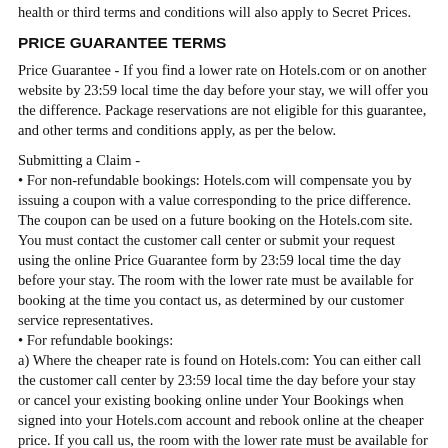health or third terms and conditions will also apply to Secret Prices.
PRICE GUARANTEE TERMS
Price Guarantee - If you find a lower rate on Hotels.com or on another website by 23:59 local time the day before your stay, we will offer you the difference. Package reservations are not eligible for this guarantee, and other terms and conditions apply, as per the below.
Submitting a Claim -
• For non-refundable bookings: Hotels.com will compensate you by issuing a coupon with a value corresponding to the price difference. The coupon can be used on a future booking on the Hotels.com site. You must contact the customer call center or submit your request using the online Price Guarantee form by 23:59 local time the day before your stay. The room with the lower rate must be available for booking at the time you contact us, as determined by our customer service representatives.
• For refundable bookings:
a) Where the cheaper rate is found on Hotels.com: You can either call the customer call center by 23:59 local time the day before your stay or cancel your existing booking online under Your Bookings when signed into your Hotels.com account and rebook online at the cheaper price. If you call us, the room with the lower rate must be available for booking at the time you contact us, as determined by our